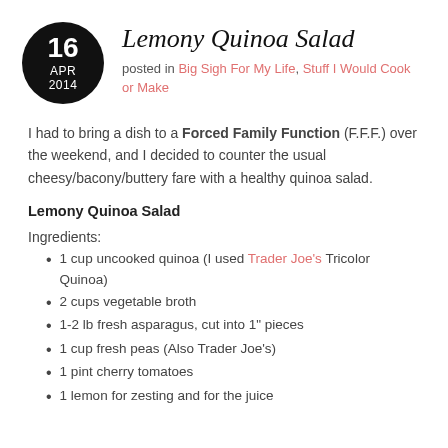Lemony Quinoa Salad
posted in Big Sigh For My Life, Stuff I Would Cook or Make
I had to bring a dish to a Forced Family Function (F.F.F.) over the weekend, and I decided to counter the usual cheesy/bacony/buttery fare with a healthy quinoa salad.
Lemony Quinoa Salad
Ingredients:
1 cup uncooked quinoa (I used Trader Joe's Tricolor Quinoa)
2 cups vegetable broth
1-2 lb fresh asparagus, cut into 1" pieces
1 cup fresh peas (Also Trader Joe's)
1 pint cherry tomatoes
1 lemon for zesting and for the juice